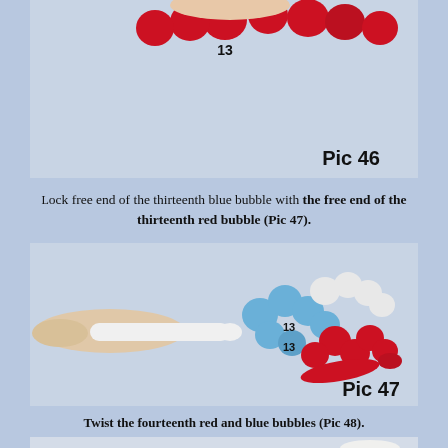[Figure (photo): Photo of balloon art showing red bubbles with '13' label, labeled Pic 46]
Lock free end of the thirteenth blue bubble with the free end of the thirteenth red bubble (Pic 47).
[Figure (photo): Photo of hands holding white balloon with blue and red balloon arrangement, numbers 13 labeled, labeled Pic 47]
Twist the fourteenth red and blue bubbles (Pic 48).
[Figure (photo): Partial photo of balloon art, beginning of Pic 48]